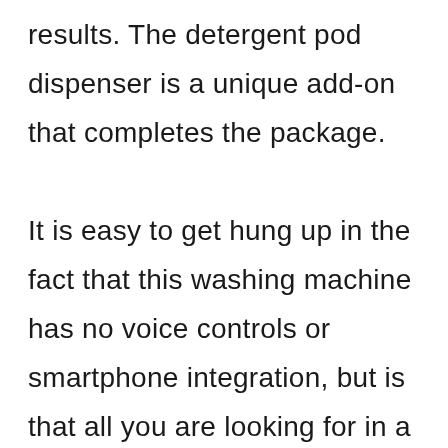results. The detergent pod dispenser is a unique add-on that completes the package.

It is easy to get hung up in the fact that this washing machine has no voice controls or smartphone integration, but is that all you are looking for in a washing machine? This particular unit is available in Titanium and White colors, while its capacity is roughly 4.4 cubic feet, it is still big enough for most